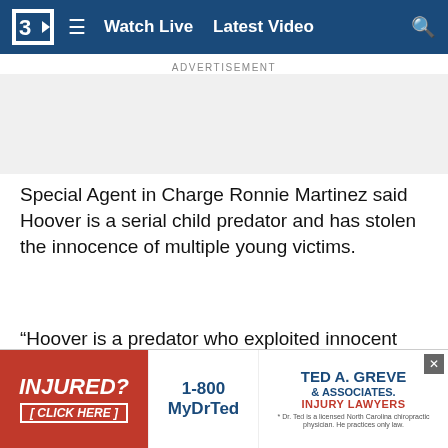Watch Live | Latest Video
ADVERTISEMENT
Special Agent in Charge Ronnie Martinez said Hoover is a serial child predator and has stolen the innocence of multiple young victims.
“Hoover is a predator who exploited innocent children entrusted in his care for his sexual gratification,” Martinez said. “I commend the prosecutors and investigators who worked hard on this case to ensure that Hoover is held accountable for his repugnant conduct.”
Wilkes County Sheriff Chris Shew added that the senten... will not be tole...
[Figure (infographic): Bottom advertisement banner: INJURED? [CLICK HERE] in red on left; 1-800 MyDrTed phone number in middle; Ted A. Greve & Associates Injury Lawyers on right with close button]